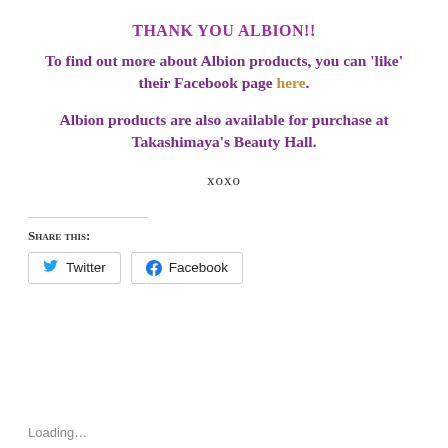THANK YOU ALBION!!
To find out more about Albion products, you can 'like' their Facebook page here.
Albion products are also available for purchase at Takashimaya's Beauty Hall.
xoxo
Share this:
Twitter   Facebook
Loading…